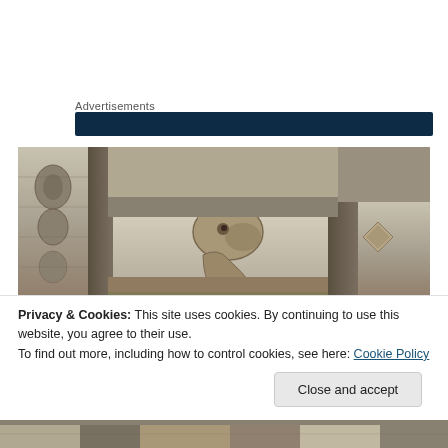Advertisements
[Figure (screenshot): Dark navy blue advertisement banner bar]
[Figure (photo): Close-up photograph of ancient stone carved architectural detail showing decorative stone capitals with animal or human figure carvings on a historic building, with blue sky visible in upper right]
Privacy & Cookies: This site uses cookies. By continuing to use this website, you agree to their use.
To find out more, including how to control cookies, see here: Cookie Policy
Close and accept
[Figure (photo): Bottom strip of another stone carved architectural photograph]